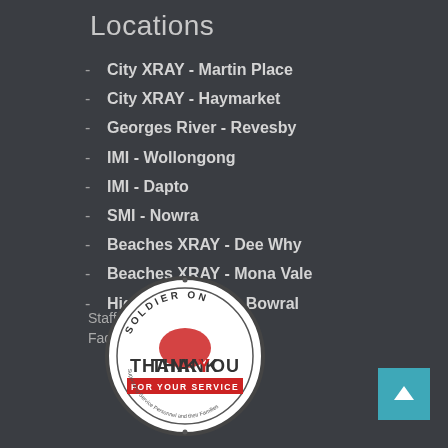Locations
City XRAY - Martin Place
City XRAY - Haymarket
Georges River - Revesby
IMI - Wollongong
IMI - Dapto
SMI - Nowra
Beaches XRAY - Dee Why
Beaches XRAY - Mona Vale
Highlands XRAY - Bowral
Staff Login
Facebook
[Figure (logo): Soldier On - Thank You For Your Service circular logo with Australian map and red banner]